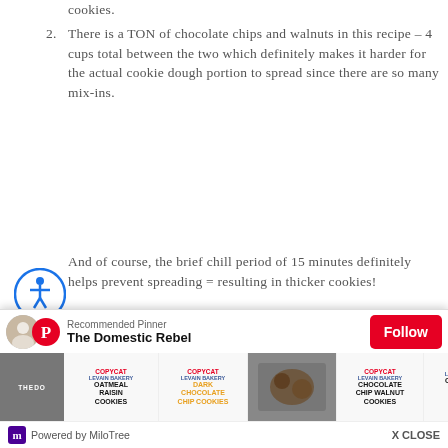cookies.
2. There is a TON of chocolate chips and walnuts in this recipe – 4 cups total between the two which definitely makes it harder for the actual cookie dough portion to spread since there are so many mix-ins.
And of course, the brief chill period of 15 minutes definitely helps prevent spreading = resulting in thicker cookies!
[Figure (infographic): Pinterest 'Recommended Pinner' popup widget for 'The Domestic Rebel' with a Follow button and thumbnail images of copycat Levain Bakery cookies. Powered by MiloTree.]